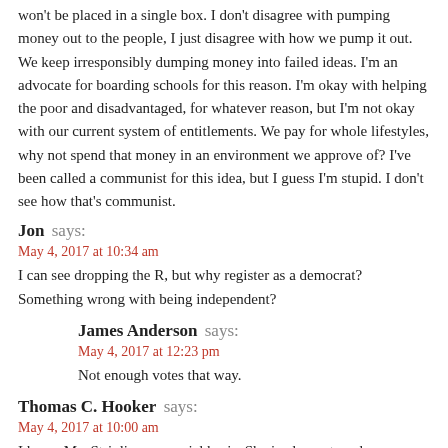won't be placed in a single box. I don't disagree with pumping money out to the people, I just disagree with how we pump it out. We keep irresponsibly dumping money into failed ideas. I'm an advocate for boarding schools for this reason. I'm okay with helping the poor and disadvantaged, for whatever reason, but I'm not okay with our current system of entitlements. We pay for whole lifestyles, why not spend that money in an environment we approve of? I've been called a communist for this idea, but I guess I'm stupid. I don't see how that's communist.
Jon says:
May 4, 2017 at 10:34 am
I can see dropping the R, but why register as a democrat? Something wrong with being independent?
James Anderson says:
May 4, 2017 at 12:23 pm
Not enough votes that way.
Thomas C. Hooker says:
May 4, 2017 at 10:00 am
I know Ms. Striplin on a social basis. She is pleasant, and interesting to converse with. She seems sweet and sincere. Perhaps she is a really good politician, but I like her.
She turned me off when she asked me to sign a petition for Alan Williams